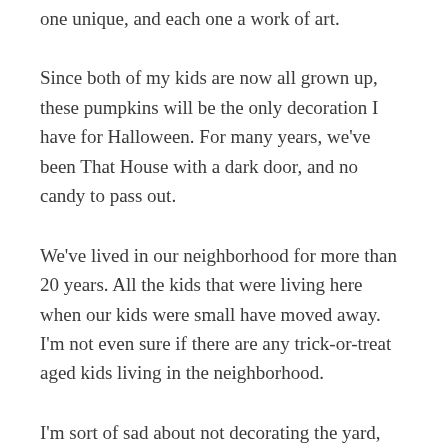one unique, and each one a work of art.
Since both of my kids are now all grown up, these pumpkins will be the only decoration I have for Halloween. For many years, we've been That House with a dark door, and no candy to pass out.
We've lived in our neighborhood for more than 20 years. All the kids that were living here when our kids were small have moved away. I'm not even sure if there are any trick-or-treat aged kids living in the neighborhood.
I'm sort of sad about not decorating the yard, making my kids' costumes, and going door-to-door with them begging for chocolate. Still, I'll